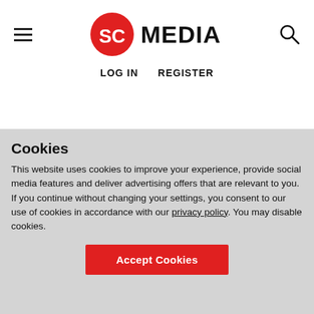SC MEDIA | LOG IN  REGISTER
[Figure (photo): Dark background banner image with white bold text reading 'colorworks' at the top and 'DEFENDING EVERY CORNER OF CYBERSPACE' in large bold letters below]
Cookies
This website uses cookies to improve your experience, provide social media features and deliver advertising offers that are relevant to you. If you continue without changing your settings, you consent to our use of cookies in accordance with our privacy policy. You may disable cookies.
Accept Cookies